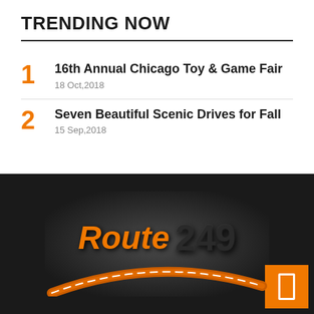TRENDING NOW
16th Annual Chicago Toy & Game Fair
18 Oct,2018
Seven Beautiful Scenic Drives for Fall
15 Sep,2018
[Figure (logo): Route 249 logo with orange italic 'Route' text, dark '249' text, and an orange swooping road graphic on a dark gradient background. An orange button with a white rectangle icon is in the bottom right.]